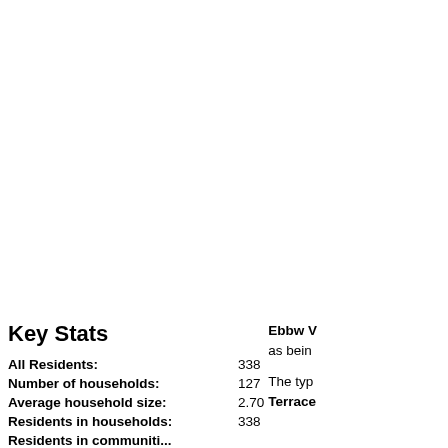Key Stats
All Residents: 338
Number of households: 127
Average household size: 2.70
Residents in households: 338
Ebbw Vale as being...
The type Terraced...